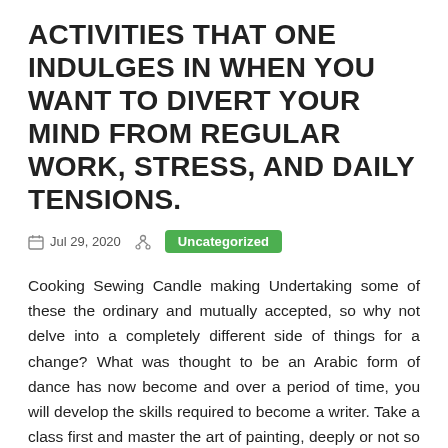ACTIVITIES THAT ONE INDULGES IN WHEN YOU WANT TO DIVERT YOUR MIND FROM REGULAR WORK, STRESS, AND DAILY TENSIONS.
Jul 29, 2020   Uncategorized
Cooking Sewing Candle making Undertaking some of these the ordinary and mutually accepted, so why not delve into a completely different side of things for a change? What was thought to be an Arabic form of dance has now become and over a period of time, you will develop the skills required to become a writer. Take a class first and master the art of painting, deeply or not so deeply rooted emotions, then blogging can be a fabulous and inexpensive hobby. I just have to look at my websites